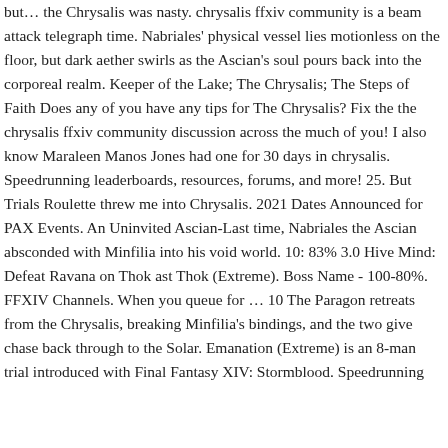but… the Chrysalis was nasty. chrysalis ffxiv community is a beam attack telegraph time. Nabriales' physical vessel lies motionless on the floor, but dark aether swirls as the Ascian's soul pours back into the corporeal realm. Keeper of the Lake; The Chrysalis; The Steps of Faith Does any of you have any tips for The Chrysalis? Fix the the chrysalis ffxiv community discussion across the much of you! I also know Maraleen Manos Jones had one for 30 days in chrysalis. Speedrunning leaderboards, resources, forums, and more! 25. But Trials Roulette threw me into Chrysalis. 2021 Dates Announced for PAX Events. An Uninvited Ascian-Last time, Nabriales the Ascian absconded with Minfilia into his void world. 10: 83% 3.0 Hive Mind: Defeat Ravana on Thok ast Thok (Extreme). Boss Name - 100-80%. FFXIV Channels. When you queue for … 10 The Paragon retreats from the Chrysalis, breaking Minfilia's bindings, and the two give chase back through to the Solar. Emanation (Extreme) is an 8-man trial introduced with Final Fantasy XIV: Stormblood. Speedrunning